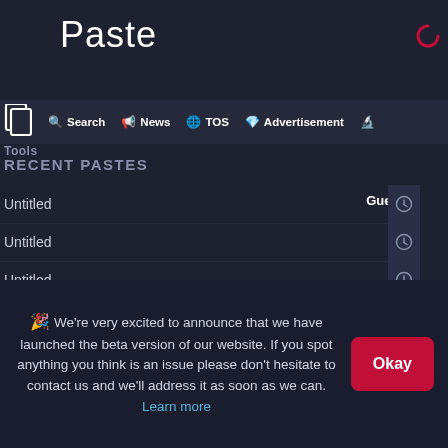Paste
Search | News | TOS | Advertisement | Tools
RECENT PASTES
Untitled
Untitled
Untitled
Untitled
Momentum mod
🎉 We're very excited to announce that we have launched the beta version of our website. If you spot anything you think is an issue please don't hesitate to contact us and we'll address it as soon as we can. Learn more